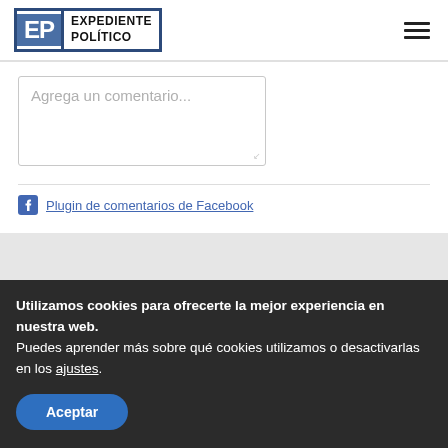Expediente Político
[Figure (screenshot): Facebook comment text input box with placeholder 'Agrega un comentario...' and Facebook plugin link below]
Plugin de comentarios de Facebook
MEDIOS   30/08/2019
Utilizamos cookies para ofrecerte la mejor experiencia en nuestra web.
Puedes aprender más sobre qué cookies utilizamos o desactivarlas en los ajustes.
Aceptar